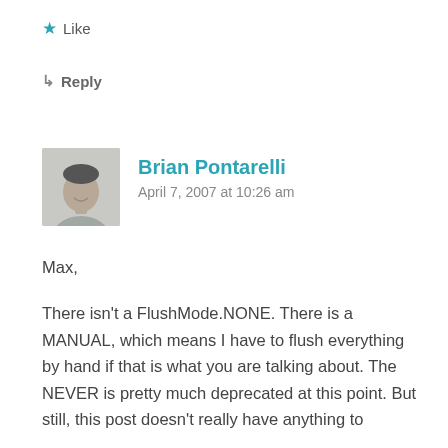★ Like
↳ Reply
Brian Pontarelli
April 7, 2007 at 10:26 am
Max,
There isn't a FlushMode.NONE. There is a MANUAL, which means I have to flush everything by hand if that is what you are talking about. The NEVER is pretty much deprecated at this point. But still, this post doesn't really have anything to